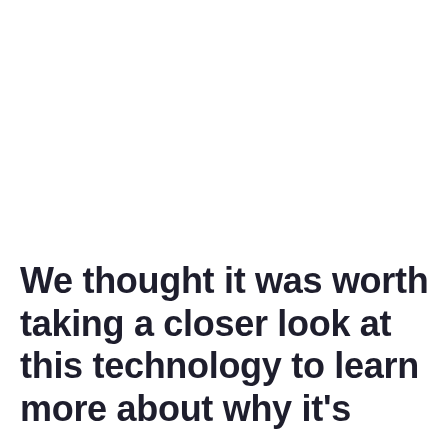We thought it was worth taking a closer look at this technology to learn more about why it's